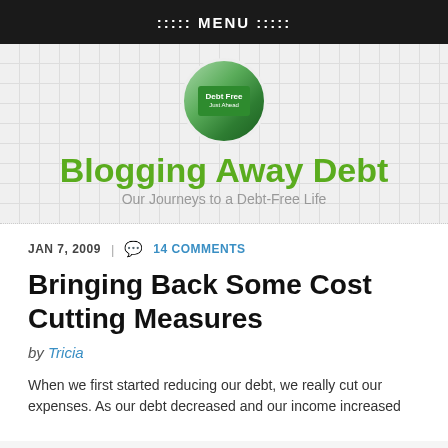::::: MENU :::::
[Figure (logo): Circular logo with a green road sign reading 'Debt Free Just Ahead']
Blogging Away Debt
Our Journeys to a Debt-Free Life
JAN 7, 2009  |  14 COMMENTS
Bringing Back Some Cost Cutting Measures
by Tricia
When we first started reducing our debt, we really cut our expenses. As our debt decreased and our income increased